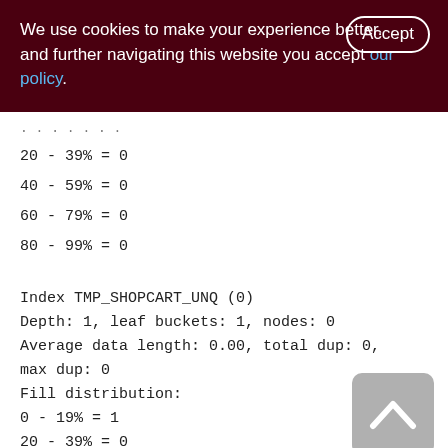We use cookies to make your experience better. By clicking and further navigating this website you accept our policy.
20 - 39% = 0
40 - 59% = 0
60 - 79% = 0
80 - 99% = 0
Index TMP_SHOPCART_UNQ (0)
Depth: 1, leaf buckets: 1, nodes: 0
Average data length: 0.00, total dup: 0, max dup: 0
Fill distribution:
0 - 19% = 1
20 - 39% = 0